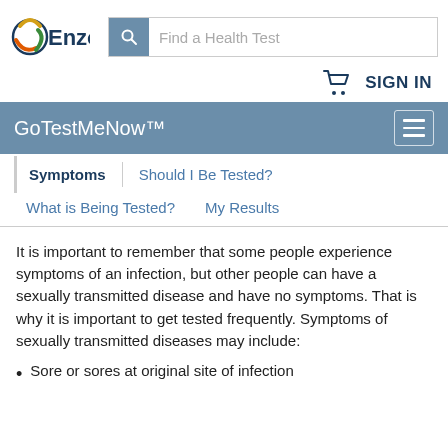[Figure (logo): Enzo Biochem logo with stylized circular DNA icon and bold blue 'Enzo' text]
Find a Health Test (search bar)
SIGN IN (with cart icon)
GoTestMeNow™
Symptoms | Should I Be Tested? | What is Being Tested? | My Results
It is important to remember that some people experience symptoms of an infection, but other people can have a sexually transmitted disease and have no symptoms. That is why it is important to get tested frequently. Symptoms of sexually transmitted diseases may include:
Sore or sores at original site of infection